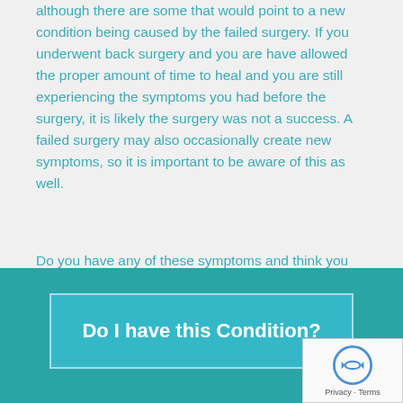although there are some that would point to a new condition being caused by the failed surgery. If you underwent back surgery and you are have allowed the proper amount of time to heal and you are still experiencing the symptoms you had before the surgery, it is likely the surgery was not a success. A failed surgery may also occasionally create new symptoms, so it is important to be aware of this as well.
Do you have any of these symptoms and think you may be suffering from a failed back or neck surgery? We have a quick and easy tool to help gather some information from you to help us determine what your problem is and get you on the road to recovery.
[Figure (other): Teal call-to-action box with button labeled 'Do I have this Condition?']